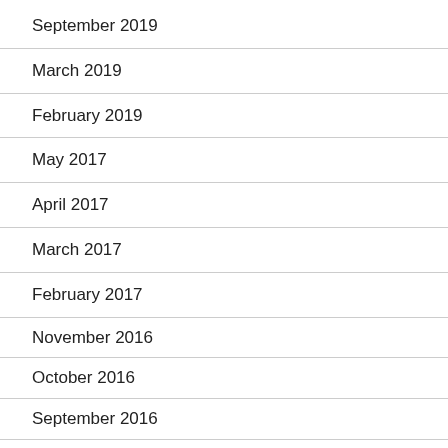September 2019
March 2019
February 2019
May 2017
April 2017
March 2017
February 2017
November 2016
October 2016
September 2016
May 2016